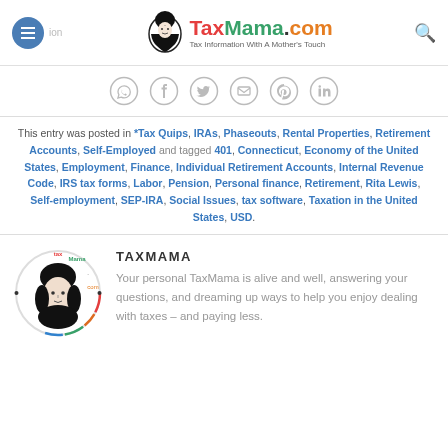TaxMama.com – Tax Information With A Mother's Touch
[Figure (infographic): Social share buttons row: WhatsApp, Facebook, Twitter, Email, Pinterest, LinkedIn – circular outlined icons]
This entry was posted in *Tax Quips, IRAs, Phaseouts, Rental Properties, Retirement Accounts, Self-Employed and tagged 401, Connecticut, Economy of the United States, Employment, Finance, Individual Retirement Accounts, Internal Revenue Code, IRS tax forms, Labor, Pension, Personal finance, Retirement, Rita Lewis, Self-employment, SEP-IRA, Social Issues, tax software, Taxation in the United States, USD.
[Figure (logo): TaxMama circular logo with illustrated face and colorful text around the circle]
TAXMAMA
Your personal TaxMama is alive and well, answering your questions, and dreaming up ways to help you enjoy dealing with taxes – and paying less.